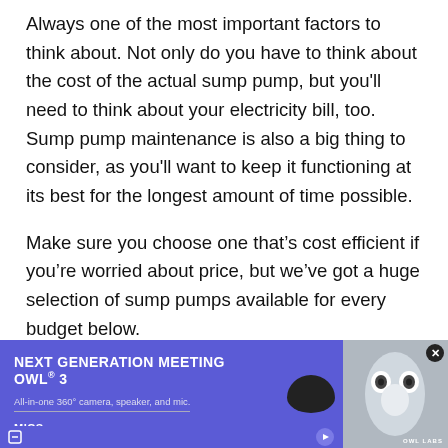Always one of the most important factors to think about. Not only do you have to think about the cost of the actual sump pump, but you'll need to think about your electricity bill, too. Sump pump maintenance is also a big thing to consider, as you'll want to keep it functioning at its best for the longest amount of time possible.
Make sure you choose one that's cost efficient if you're worried about price, but we've got a huge selection of sump pumps available for every budget below.
[Figure (other): Advertisement banner for Next Generation Meeting Owl 3. Purple background with product text on left side and owl device image on right. Text reads: NEXT GENERATION MEETING OWL 3, All-in-one 360° camera, speaker, and mic. MICS. OWL LABS logo visible.]